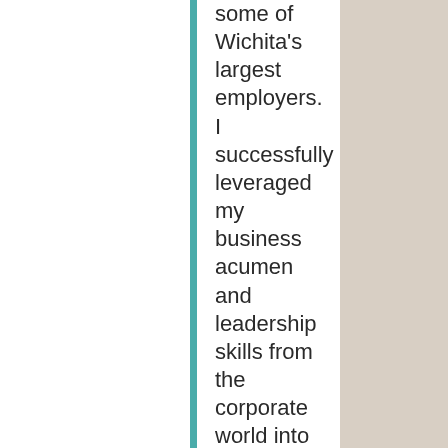some of Wichita's largest employers. I successfully leveraged my business acumen and leadership skills from the corporate world into the wine industry. To hone my craft in viticulture and enology, I got a Master's degree in Agribusiness from Kansas State University and took online classes through UC Davis. I started out as a home winemaker before becoming a commercial